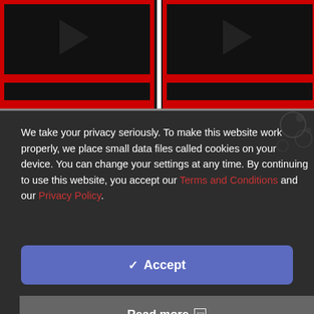[Figure (screenshot): Top banner showing two dark video thumbnails with red borders and play arrows, separated by a white vertical divider, on a dark background]
We take your privacy seriously. To make this website work properly, we place small data files called cookies on your device. You can change your settings at any time. By continuing to use this website, you accept our Terms and Conditions and our Privacy Policy.
✓ Accept
Read more ❐
Change Settings ⚙